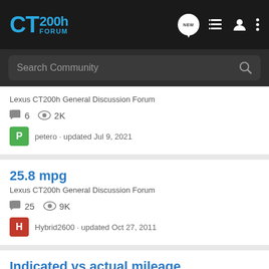CT200h FORUM
Search Community
Lexus CT200h General Discussion Forum · 6 comments · 2K views · petero · updated Jul 9, 2021
25.8 mpg
Lexus CT200h General Discussion Forum
25 comments · 9K views · Hybrid2600 · updated Oct 27, 2011
Indicated vs actual mileage
Lexus CT200h General Discussion Forum